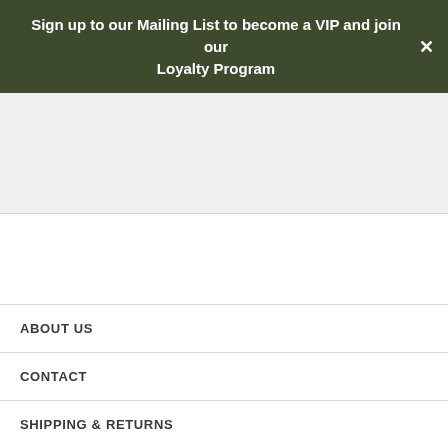Sign up to our Mailing List to become a VIP and join our Loyalty Program
ABOUT US
CONTACT
SHIPPING & RETURNS
TERMS & CONDITIONS
Rewards